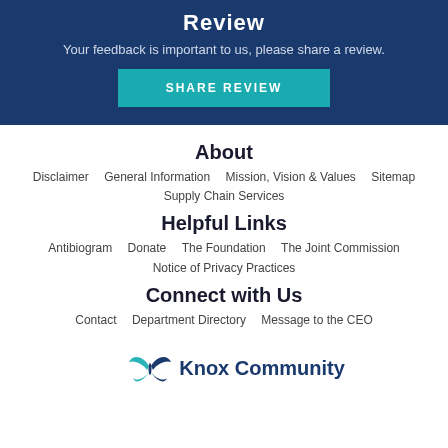Review
Your feedback is important to us, please share a review.
SHARE REVIEW
About
Disclaimer
General Information
Mission, Vision & Values
Sitemap
Supply Chain Services
Helpful Links
Antibiogram
Donate
The Foundation
The Joint Commission
Notice of Privacy Practices
Connect with Us
Contact
Department Directory
Message to the CEO
[Figure (logo): Knox Community logo with teal butterfly/leaf icon]